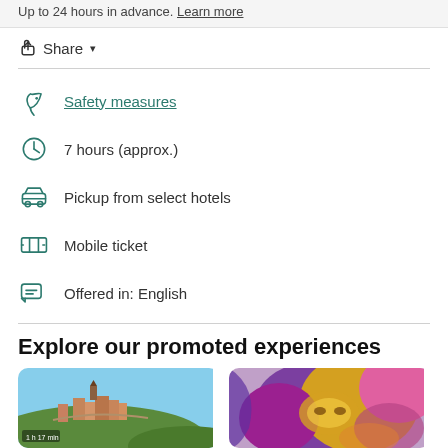Up to 24 hours in advance. Learn more
Share
Safety measures
7 hours (approx.)
Pickup from select hotels
Mobile ticket
Offered in: English
Explore our promoted experiences
[Figure (photo): A hilltop town with medieval buildings and lush greenery]
[Figure (photo): Colorful carnival masks and fabric in purple, gold and pink tones]